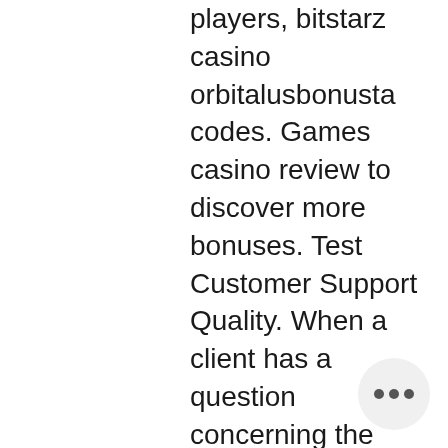players, bitstarz casino orbitalusbonusta codes. Games casino review to discover more bonuses. Test Customer Support Quality. When a client has a question concerning the playing process or a problem with deposits, the speed of support manager response is an essential thing, казино bitstarz. You can then play any games at the site as long as they are not restricted. Free Spin Bonuses are a type of No Deposit Bonus, bitstarz ndb code. You can speak to a representative via Live Chat and use email support, bitstarz darmowe spiny bonus codes. Note that this casino has the fastest response time than most other online casinos. Well, the number of games that you can find in this casino is around 900. However, after reading previous elements on our list, we are sure this is not something that surprises you, bitstarz no deposit bonus 20 freispiele. Designs and Download of App, bitstarz linkedin. The operator of this